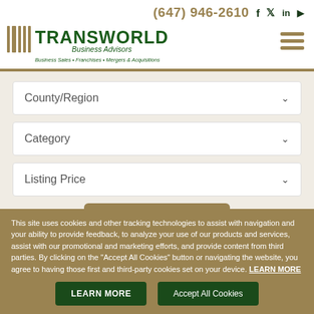(647) 946-2610
[Figure (logo): Transworld Business Advisors logo with barcode-style icon, text TRANSWORLD Business Advisors, tagline Business Sales • Franchises • Mergers & Acquisitions]
County/Region dropdown
Category dropdown
Listing Price dropdown
SEARCH button
This site uses cookies and other tracking technologies to assist with navigation and your ability to provide feedback, to analyze your use of our products and services, assist with our promotional and marketing efforts, and provide content from third parties. By clicking on the "Accept All Cookies" button or navigating the website, you agree to having those first and third-party cookies set on your device. LEARN MORE
LEARN MORE | Accept All Cookies